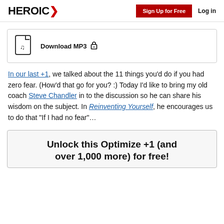HEROIC | Sign Up for Free | Log in
[Figure (other): Download MP3 button with music file icon and lock icon]
In our last +1, we talked about the 11 things you'd do if you had zero fear. (How'd that go for you? :) Today I'd like to bring my old coach Steve Chandler in to the discussion so he can share his wisdom on the subject. In Reinventing Yourself, he encourages us to do that “If I had no fear”…
Unlock this Optimize +1 (and over 1,000 more) for free!